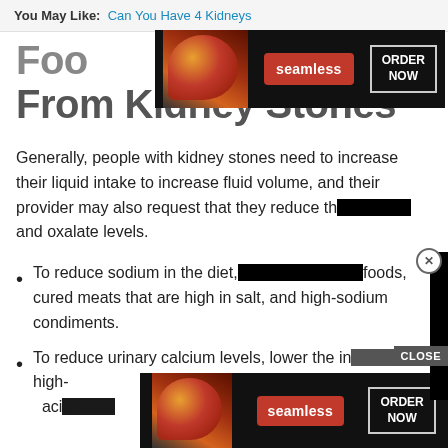You May Like: Can You Have 4 Kidneys
[Figure (screenshot): Seamless food delivery advertisement banner with pizza image, red Seamless button, and ORDER NOW button on dark background]
Foods to Avoid for Preventing From Kidney Stones
Generally, people with kidney stones need to increase their liquid intake to increase fluid volume, and their provider may also request that they reduce the [obscured] and oxalate levels.
To reduce sodium in the diet, [obscured] foods, cured meats that are high in salt, and high-sodium condiments.
To reduce urinary calcium levels, lower the in[obscured] f high-aci[obscured]
[Figure (screenshot): Seamless food delivery advertisement banner at bottom with pizza image, red Seamless button, and ORDER NOW button on dark background]